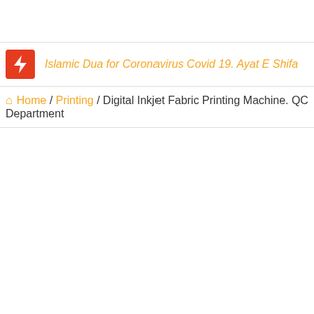Islamic Dua for Coronavirus Covid 19. Ayat E Shifa
Home / Printing / Digital Inkjet Fabric Printing Machine. QC Department